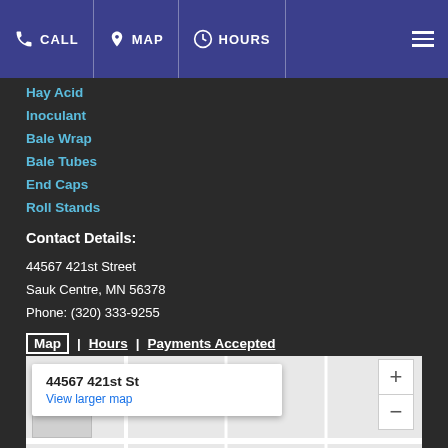CALL | MAP | HOURS
Hay Acid
Inoculant
Bale Wrap
Bale Tubes
End Caps
Roll Stands
Contact Details:
44567 421st Street
Sauk Centre, MN 56378
Phone: (320) 333-9255
Map | Hours | Payments Accepted
[Figure (screenshot): Embedded Google Maps view showing location at 44567 421st St, Sauk Centre, MN 56378 with a popup balloon and zoom controls]